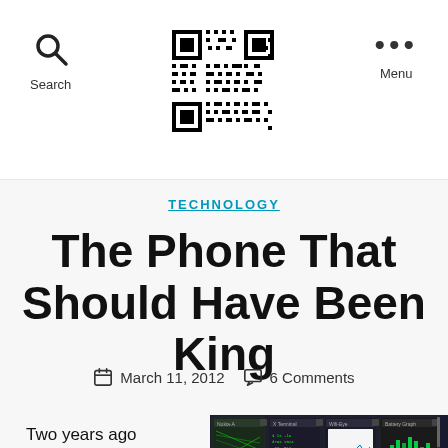Search | [QR code] | Menu
TECHNOLOGY
The Phone That Should Have Been King
March 11, 2012   6 Comments
Two years ago Nokia's future was going to
[Figure (screenshot): Screenshot of Nokia N9/MeeGo multitasking interface showing multiple app windows including Nokia-A, X Terminal, Wifi-Eye, Battery Graph, PSLandUI, nTransAio, Connection, ThinkBit]